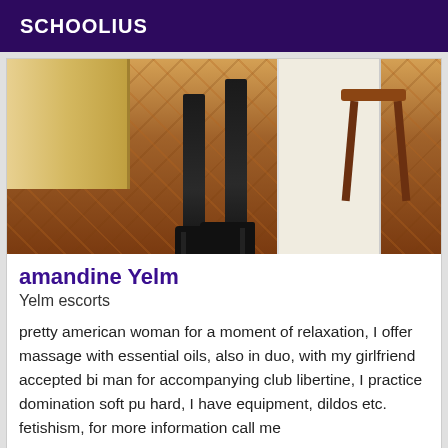SCHOOLIUS
[Figure (photo): Photo showing legs in black stockings and high heels on a wooden parquet floor, with a stool and door visible in the background]
amandine Yelm
Yelm escorts
pretty american woman for a moment of relaxation, I offer massage with essential oils, also in duo, with my girlfriend accepted bi man for accompanying club libertine, I practice domination soft pu hard, I have equipment, dildos etc. fetishism, for more information call me
Online